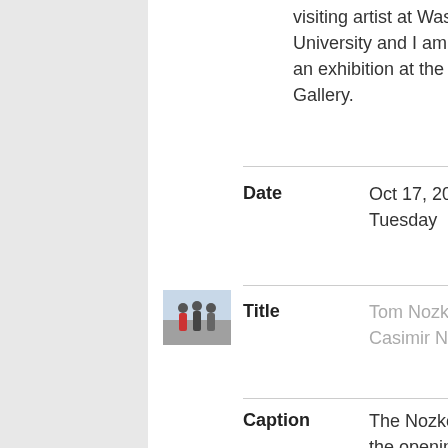visiting artist at Washington University and I am having an exhibition at the Atrium Gallery.
| Field | Value |
| --- | --- |
| Date | Oct 17, 2006. Tuesday |
| Title | Tom Nozkowski, Joyce Robins, Casimir Nozkowski |
| Caption | The Nozkowski Robins family at the opening of an exhibition at the Lesley Haller Gallery |
[Figure (photo): Small thumbnail photo of people standing together, likely at a gallery opening]